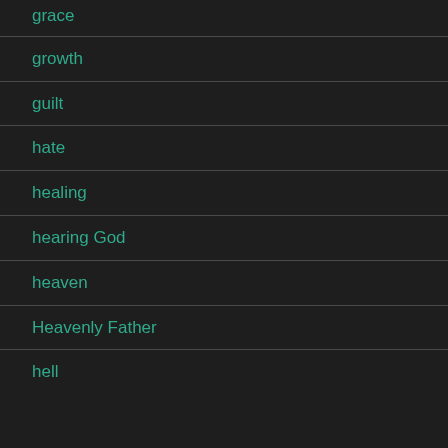grace
growth
guilt
hate
healing
hearing God
heaven
Heavenly Father
hell